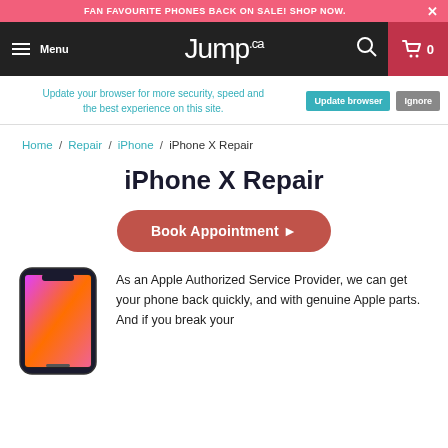FAN FAVOURITE PHONES BACK ON SALE! SHOP NOW.
[Figure (screenshot): Jump.ca navigation bar with hamburger Menu icon on left, Jump.ca logo in centre, search icon and cart (0) on right. Red cart button on far right.]
[Figure (screenshot): Browser update notification bar with teal Update browser button and grey Ignore button, overlaying the top of the page.]
Home / Repair / iPhone / iPhone X Repair
iPhone X Repair
Book Appointment ▶
[Figure (photo): iPhone X smartphone shown from the front, displaying a colourful gradient wallpaper.]
As an Apple Authorized Service Provider, we can get your phone back quickly, and with genuine Apple parts. And if you break your